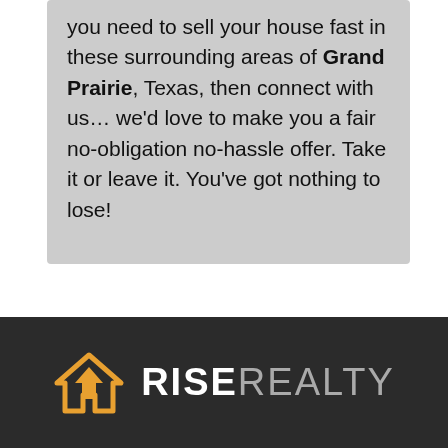you need to sell your house fast in these surrounding areas of Grand Prairie, Texas, then connect with us… we'd love to make you a fair no-obligation no-hassle offer. Take it or leave it. You've got nothing to lose!
[Figure (logo): Rise Realty logo: orange house icon with upward arrow, followed by RISEREALTY text in white and gray on dark background]